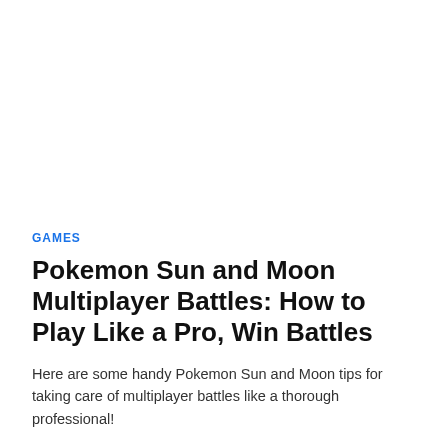GAMES
Pokemon Sun and Moon Multiplayer Battles: How to Play Like a Pro, Win Battles
Here are some handy Pokemon Sun and Moon tips for taking care of multiplayer battles like a thorough professional!
Ordoh
November 8, 2021
Read More